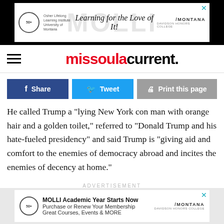[Figure (screenshot): MOLLI advertisement banner - Learning for the Love of It! Montana Davidson Honors College]
missoulacurrent.
[Figure (screenshot): Share, Tweet, and Print this page buttons]
He called Trump a "lying New York con man with orange hair and a golden toilet," referred to "Donald Trump and his hate-fueled presidency" and said Trump is "giving aid and comfort to the enemies of democracy abroad and incites the enemies of decency at home."
ADVERTISEMENT
[Figure (screenshot): MOLLI Academic Year Starts Now - Purchase or Renew Your Membership - Great Courses, Events & MORE - Montana Davidson Honors College]